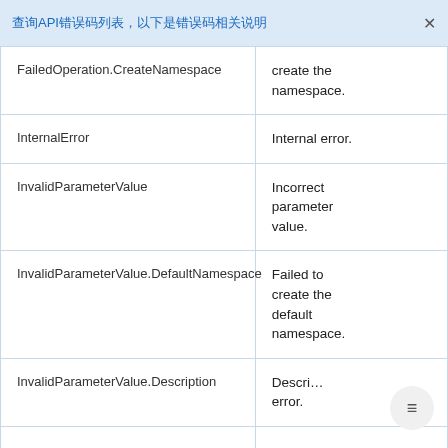查询API错误码列表，以下是错误码相关说明
| Error Code | Description |
| --- | --- |
| FailedOperation.CreateNamespace | create the namespace. |
| InternalError | Internal error. |
| InvalidParameterValue | Incorrect parameter value. |
| InvalidParameterValue.DefaultNamespace | Failed to create the default namespace. |
| InvalidParameterValue.Description | Descri… error. |